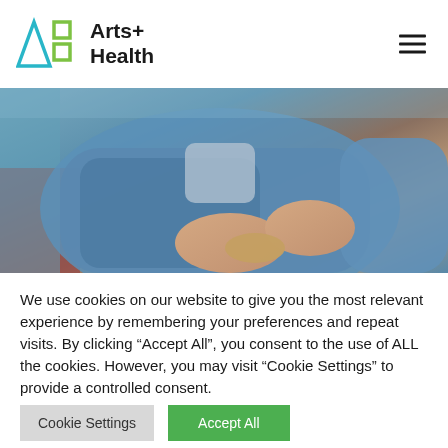[Figure (logo): Arts+ Health logo with cyan triangle and green rectangles icons, and bold text 'Arts+ Health']
[Figure (photo): Elderly person wearing blue cardigan working with hands, close-up photograph]
We use cookies on our website to give you the most relevant experience by remembering your preferences and repeat visits. By clicking "Accept All", you consent to the use of ALL the cookies. However, you may visit "Cookie Settings" to provide a controlled consent.
Cookie Settings
Accept All